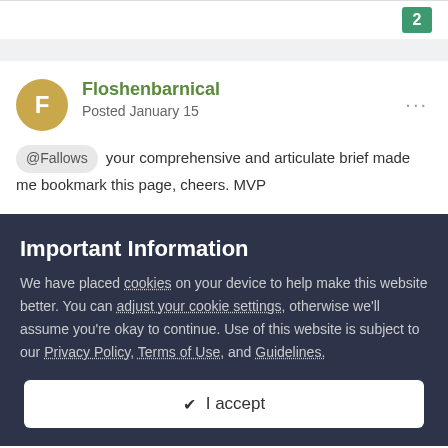2
Floshenbarnical
Posted January 15
@Fallows your comprehensive and articulate brief made me bookmark this page, cheers. MVP
Important Information
We have placed cookies on your device to help make this website better. You can adjust your cookie settings, otherwise we'll assume you're okay to continue. Use of this website is subject to our Privacy Policy, Terms of Use, and Guidelines.
✔ I accept